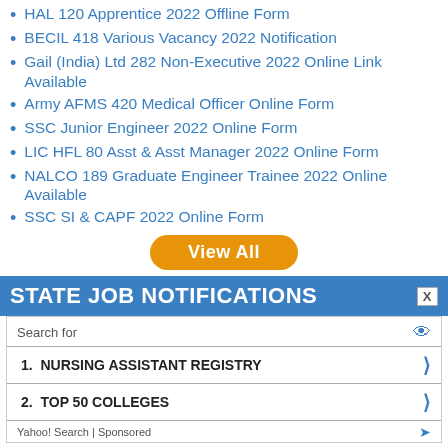HAL 120 Apprentice 2022 Offline Form
BECIL 418 Various Vacancy 2022 Notification
Gail (India) Ltd 282 Non-Executive 2022 Online Link Available
Army AFMS 420 Medical Officer Online Form
SSC Junior Engineer 2022 Online Form
LIC HFL 80 Asst & Asst Manager 2022 Online Form
NALCO 189 Graduate Engineer Trainee 2022 Online Available
SSC SI & CAPF 2022 Online Form
View All
STATE JOB NOTIFICATIONS
Search for
1. NURSING ASSISTANT REGISTRY
2. TOP 50 COLLEGES
Yahoo! Search | Sponsored